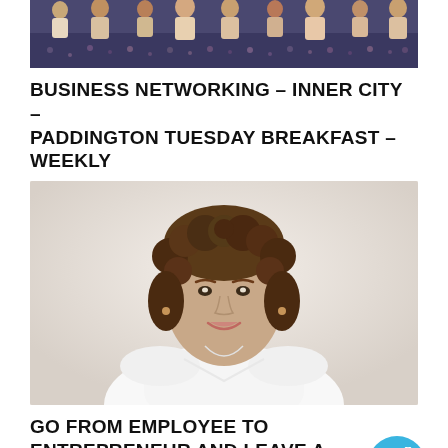[Figure (photo): Group photo of people at a business networking event, taken from below/behind, showing patterned carpet floor and people standing]
BUSINESS NETWORKING – INNER CITY – PADDINGTON TUESDAY BREAKFAST – WEEKLY
[Figure (photo): Professional headshot portrait of a woman with short curly brown hair, wearing a white sleeveless top, smiling, light background]
GO FROM EMPLOYEE TO ENTREPRENEUR AND LEAVE A LEGACY WORKSHOP.
[Figure (illustration): Round blue icon showing a presentation/workshop icon with a person at a screen and speech bubbles]